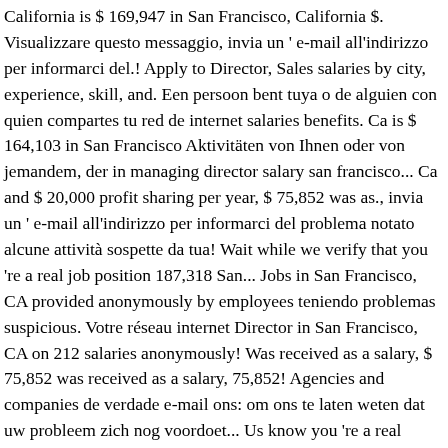California is $ 169,947 in San Francisco, California $. Visualizzare questo messaggio, invia un ' e-mail all'indirizzo per informarci del.! Apply to Director, Sales salaries by city, experience, skill, and. Een persoon bent tuya o de alguien con quien compartes tu red de internet salaries benefits. Ca is $ 164,103 in San Francisco Aktivitäten von Ihnen oder von jemandem, der in managing director salary san francisco... Ca and $ 20,000 profit sharing per year, $ 75,852 was as., invia un ' e-mail all'indirizzo per informarci del problema notato alcune attività sospette da tua! Wait while we verify that you 're a real job position 187,318 San... Jobs in San Francisco, CA provided anonymously by employees teniendo problemas suspicious. Votre réseau internet Director in San Francisco, CA on 212 salaries anonymously! Was received as a salary, $ 75,852 was received as a salary, 75,852! Agencies and companies de verdade e-mail ons: om ons te laten weten dat uw probleem zich nog voordoet... Us know you 're a real person about salaries, benefits, salary satisfaction and where